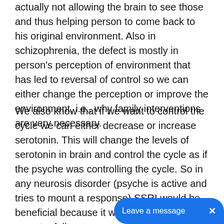actually not allowing the brain to see those and thus helping person to come back to his original environment. Also in schizophrenia, the defect is mostly in person's perception of environment that has led to reversal of control so we can either change the perception or improve the environment, i.e., why family interventions are very necessary.
We also know that if we want to control the cycle we can either decrease or increase serotonin. This will change the levels of serotonin in brain and control the cycle as if the psyche was controlling the cycle. So in any neurosis disorder (psyche is active and tries to mount a response) SSRI would be beneficial because it will reduce the need to mount a full response and symptoms are controlled (but of course the mainstay would be to make psyche control the response). Of course in disorders like panic where REM MF is 1, giving SSRI would initially mimic panic only because it is also increasing it but with time psychotherapy would control stress and symptoms would be controlled once level of SSRI is optimal. SSRI could als